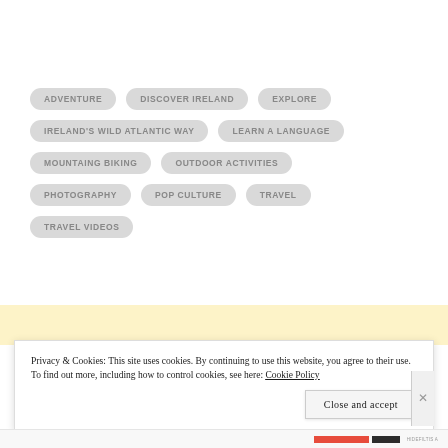ADVENTURE | DISCOVER IRELAND | EXPLORE | IRELAND'S WILD ATLANTIC WAY | LEARN A LANGUAGE | MOUNTAING BIKING | OUTDOOR ACTIVITIES | PHOTOGRAPHY | POP CULTURE | TRAVEL | TRAVEL VIDEOS
Privacy & Cookies: This site uses cookies. By continuing to use this website, you agree to their use.
To find out more, including how to control cookies, see here: Cookie Policy
Close and accept